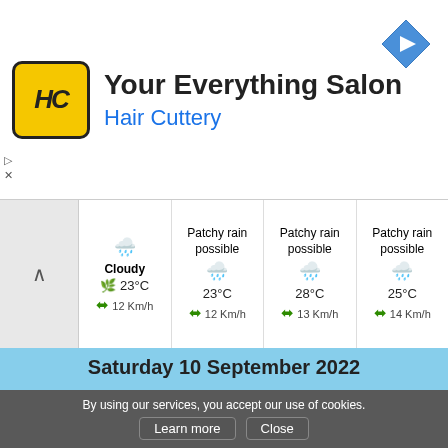[Figure (screenshot): Ad banner for Hair Cuttery - Your Everything Salon with logo and navigation icon]
Cloudy 23°C 12 Km/h
Patchy rain possible 23°C 12 Km/h
Patchy rain possible 28°C 13 Km/h
Patchy rain possible 25°C 14 Km/h
Saturday 10 September 2022
Light rain shower
Temperature : 27°C | 21°C
Felt : 29°C
Wind : 14 Km/h
Cloud cover : 97%
Humidity : 59%
Precipitation : 0.3 mm
Night
Morning
Afternoon
Evening
By using our services, you accept our use of cookies.
Learn more
Close